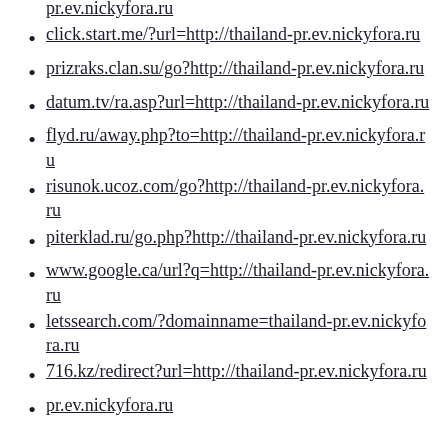click.start.me/?url=http://thailand-pr.ev.nickyfora.ru
prizraks.clan.su/go?http://thailand-pr.ev.nickyfora.ru
datum.tv/ra.asp?url=http://thailand-pr.ev.nickyfora.ru
flyd.ru/away.php?to=http://thailand-pr.ev.nickyfora.ru
risunok.ucoz.com/go?http://thailand-pr.ev.nickyfora.ru
piterklad.ru/go.php?http://thailand-pr.ev.nickyfora.ru
www.google.ca/url?q=http://thailand-pr.ev.nickyfora.ru
letssearch.com/?domainname=thailand-pr.ev.nickyfora.ru
716.kz/redirect?url=http://thailand-pr.ev.nickyfora.ru